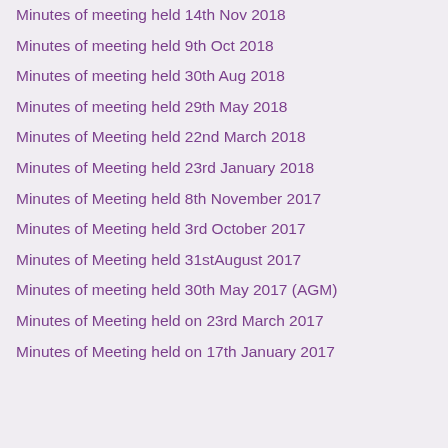Minutes of meeting held 14th Nov 2018
Minutes of meeting held 9th Oct 2018
Minutes of meeting held 30th Aug 2018
Minutes of meeting held 29th May 2018
Minutes of Meeting held 22nd March 2018
Minutes of Meeting held 23rd January 2018
Minutes of Meeting held 8th November 2017
Minutes of Meeting held 3rd October 2017
Minutes of Meeting held 31stAugust 2017
Minutes of meeting held 30th May 2017 (AGM)
Minutes of Meeting held on 23rd March 2017
Minutes of Meeting held on 17th January 2017